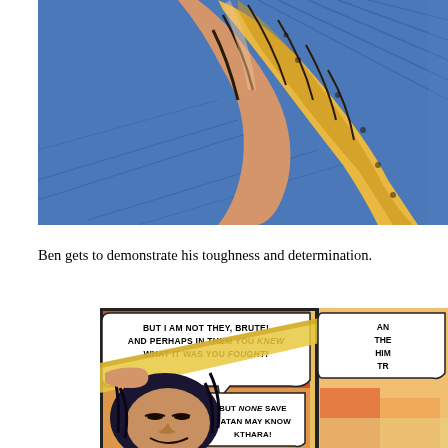[Figure (illustration): Comic book panel cropped showing a blue-clothed figure with an arm/fist wrapped in yellow-orange flowing fabric or energy, on a blue background with motion lines.]
Ben gets to demonstrate his toughness and determination.
[Figure (illustration): Comic book panel showing a dark-haired villain lying on a yellow diagonal beam/bar, with speech bubbles reading: 'BUT I AM NOT THEY, BRUTE! AND PERHAPS IN THEM YOU KNEW WHAT IT WAS YOU FOUGHT!' and 'BUT NONE SAVE SATAN MAY KNOW KTHARA!' Partial second panel visible on right with text beginning 'AN... THE... HIM... TR...']